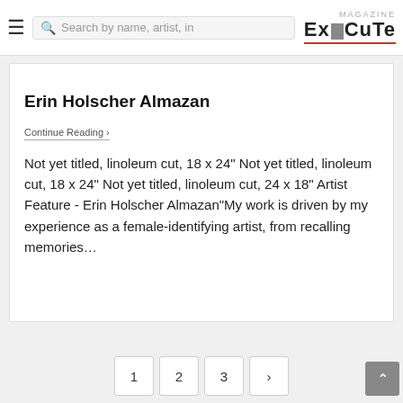changes and... | Search by name, artist, in... | MAGAZINE ExeCuTe
changes and
Erin Holscher Almazan
Continue Reading ›
Not yet titled, linoleum cut, 18 x 24" Not yet titled, linoleum cut, 18 x 24" Not yet titled, linoleum cut, 24 x 18" Artist Feature - Erin Holscher Almazan"My work is driven by my experience as a female-identifying artist, from recalling memories…
1  2  3  ›